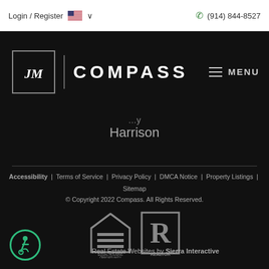Login / Register | (914) 844-8527
[Figure (logo): JM Compass logo on black background with MENU button]
Harrison
Accessibility | Terms of Service | Privacy Policy | DMCA Notice | Property Listings | Sitemap
© Copyright 2022 Compass. All Rights Reserved.
[Figure (logo): Equal Housing Opportunity and REALTOR logos]
Real Estate Websites by Sierra Interactive